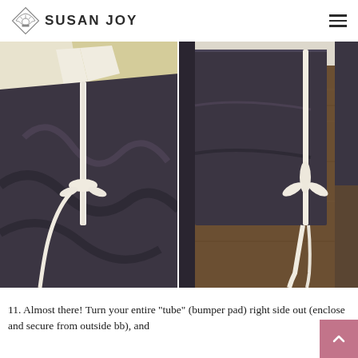SUSAN JOY
[Figure (photo): Left photo showing dark charcoal fabric tube/bumper pad with a white ribbon tie, laid out on a brown carpet with a cream/yellow fabric visible on top.]
[Figure (photo): Right photo showing the dark charcoal bumper pad attached to a crib or sofa, with a white ribbon tied in a bow, on a brown shag carpet background.]
11. Almost there! Turn your entire "tube" (bumper pad) right side out (enclose and secure from outside bb), and...